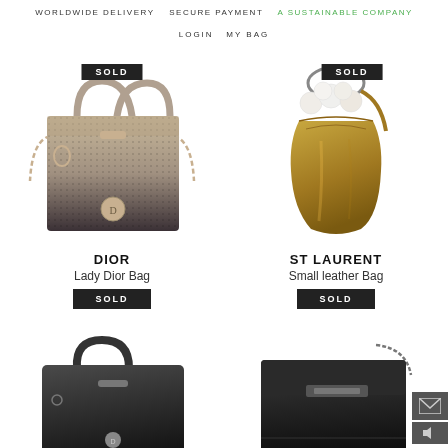WORLDWIDE DELIVERY   SECURE PAYMENT   A SUSTAINABLE COMPANY
LOGIN   MY BAG
[Figure (photo): Lady Dior metallic grid-textured handbag with gold hardware, SOLD badge on top]
DIOR
Lady Dior Bag
SOLD
[Figure (photo): ST Laurent small bronze leather drawstring bag with white fur pom-pom charm, SOLD badge on top]
ST LAURENT
Small leather Bag
SOLD
[Figure (photo): Black leather Lady Dior style bag partially shown at bottom left]
[Figure (photo): Black structured leather handbag partially shown at bottom right]